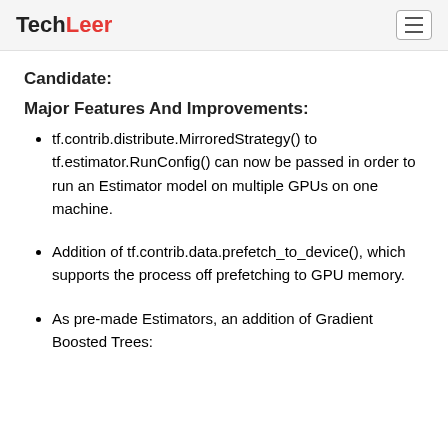TechLeer
Candidate:
Major Features And Improvements:
tf.contrib.distribute.MirroredStrategy() to tf.estimator.RunConfig() can now be passed in order to run an Estimator model on multiple GPUs on one machine.
Addition of tf.contrib.data.prefetch_to_device(), which supports the process off prefetching to GPU memory.
As pre-made Estimators, an addition of Gradient Boosted Trees: